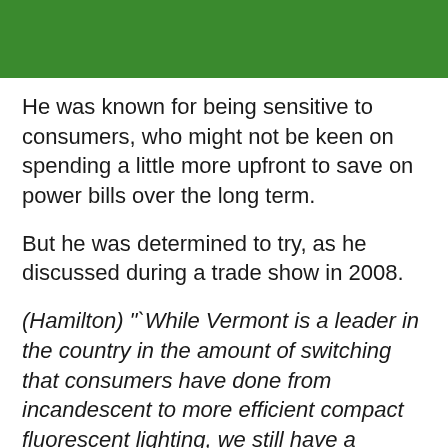He was known for being sensitive to consumers, who might not be keen on spending a little more upfront to save on power bills over the long term.
But he was determined to try, as he discussed during a trade show in 2008.
(Hamilton) "‘While Vermont is a leader in the country in the amount of switching that consumers have done from incandescent to more efficient compact fluorescent lighting, we still have a tremendous amount of remaining opportunity for savings. For most homeowners it is the single most cost effective thing they can